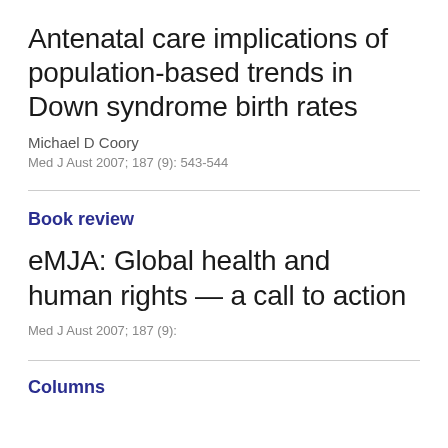Antenatal care implications of population-based trends in Down syndrome birth rates
Michael D Coory
Med J Aust 2007; 187 (9): 543-544
Book review
eMJA: Global health and human rights — a call to action
Med J Aust 2007; 187 (9):
Columns